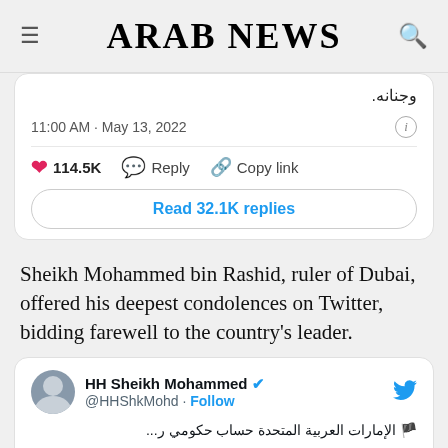ARAB NEWS
[Figure (screenshot): A tweet card showing Arabic text, timestamp 11:00 AM May 13, 2022, 114.5K likes, Reply, Copy link actions, and a Read 32.1K replies button]
Sheikh Mohammed bin Rashid, ruler of Dubai, offered his deepest condolences on Twitter, bidding farewell to the country's leader.
[Figure (screenshot): A tweet card from HH Sheikh Mohammed (@HHShkMohd) with Arabic text: 'الإمارات العربية المتحدة حساب حكومي ر...' and 'بقلوب يعتصرها الحزن .. وبنفوس مؤمنة']